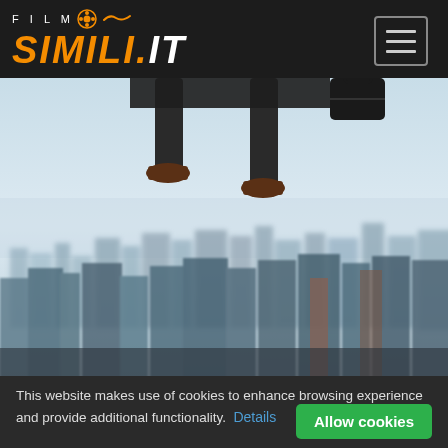FILM SIMILI.IT
[Figure (screenshot): Website screenshot showing the FilmSimili.it logo with a film reel icon and orange bold italic text, navigation menu button on top-right, and a hero image of a businessman jumping over a city skyline (New York). Cookie consent banner at the bottom with 'Allow cookies' green button.]
This website makes use of cookies to enhance browsing experience and provide additional functionality.  Details
Allow cookies